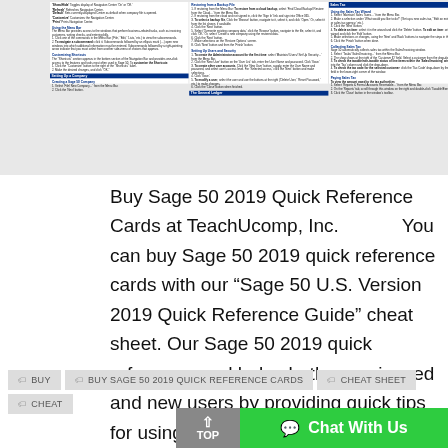[Figure (screenshot): Screenshot of a Sage 50 Quick Reference Card showing sections: Navigation Bar options (Show/Hide, Refresh, Default, Customize), Using the Menu Bar, Customizing Shortcuts, Setting Up a Company (blue bar), Creating a Sage 50 Company; middle column: Restoring from a Backup File, Setting Up Users and Security, The General Ledger (blue bar); right column: Sales Tax (blue header), Using the Sales Tax Wizard, Collecting Sales Tax, Paying Sales Tax]
Buy Sage 50 2019 Quick Reference Cards at TeachUcomp, Inc.            You can buy Sage 50 2019 quick reference cards with our “Sage 50 U.S. Version 2019 Quick Reference Guide” cheat sheet. Our Sage 50 2019 quick reference card helps both experienced and new users by providing quick tips for using Sage 50 Premium Accounting.
BUY
BUY SAGE 50 2019 QUICK REFERENCE CARDS
CHEAT SHEET
CHEAT